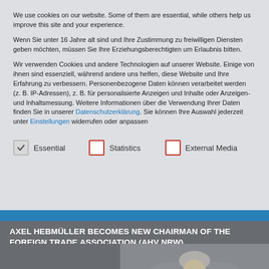We use cookies on our website. Some of them are essential, while others help us improve this site and your experience.
Wenn Sie unter 16 Jahre alt sind und Ihre Zustimmung zu freiwilligen Diensten geben möchten, müssen Sie Ihre Erziehungsberechtigten um Erlaubnis bitten.
Wir verwenden Cookies und andere Technologien auf unserer Website. Einige von ihnen sind essenziell, während andere uns helfen, diese Website und Ihre Erfahrung zu verbessern. Personenbezogene Daten können verarbeitet werden (z. B. IP-Adressen), z. B. für personalisierte Anzeigen und Inhalte oder Anzeigen- und Inhaltsmessung. Weitere Informationen über die Verwendung Ihrer Daten finden Sie in unserer Datenschutzerklärung. Sie können Ihre Auswahl jederzeit unter Einstellungen widerrufen oder anpassen
Essential
Statistics
External Media
AXEL HEBMÜLLER BECOMES NEW CHAIRMAN OF THE FOREIGN TRADE ASSOCIATION (AHV NRW)
[Figure (photo): Partial view of a person (gray-haired man) photographed from below the face, gray background]